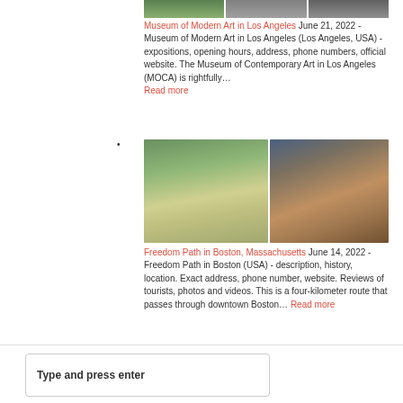[Figure (photo): Three thumbnail images at top of page showing outdoor/landscape scenes]
Museum of Modern Art in Los Angeles June 21, 2022 - Museum of Modern Art in Los Angeles (Los Angeles, USA) - expositions, opening hours, address, phone numbers, official website. The Museum of Contemporary Art in Los Angeles (MOCA) is rightfully…
Read more
[Figure (photo): Two photos: left shows Freedom Path in Boston with green lawn and walkway; right shows historic church/building with steeple in Boston]
Freedom Path in Boston, Massachusetts June 14, 2022 - Freedom Path in Boston (USA) - description, history, location. Exact address, phone number, website. Reviews of tourists, photos and videos. This is a four-kilometer route that passes through downtown Boston…
Read more
Type and press enter